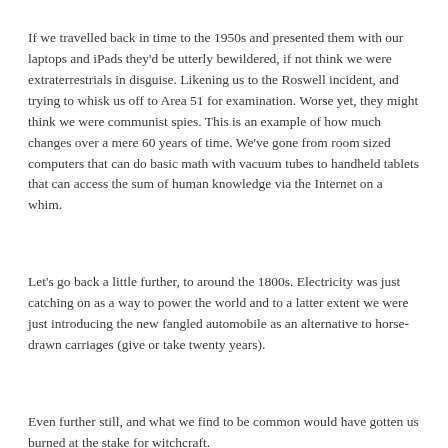If we travelled back in time to the 1950s and presented them with our laptops and iPads they'd be utterly bewildered, if not think we were extraterrestrials in disguise. Likening us to the Roswell incident, and trying to whisk us off to Area 51 for examination. Worse yet, they might think we were communist spies. This is an example of how much changes over a mere 60 years of time. We've gone from room sized computers that can do basic math with vacuum tubes to handheld tablets that can access the sum of human knowledge via the Internet on a whim.
Let's go back a little further, to around the 1800s. Electricity was just catching on as a way to power the world and to a latter extent we were just introducing the new fangled automobile as an alternative to horse-drawn carriages (give or take twenty years).
Even further still, and what we find to be common would have gotten us burned at the stake for witchcraft.